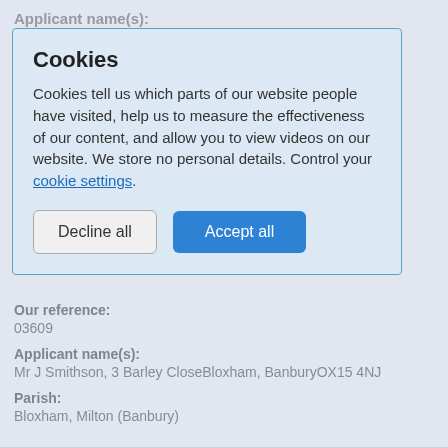Applicant name(s):
Mrs V Moyes, 3 Greenhills Park, Bloxham, Nr Banbury, Oxon, OX15 4AT
Postcode(s):
OX15 4QQ
Parish:
Bloxham
Bloxham & Milton, Bloxham Place, Parish: Bloxham Grove Rd and to Milton Hill
[Figure (screenshot): Cookie consent dialog with title 'Cookies', descriptive text about cookies, a link to 'cookie settings', and two buttons: 'Decline all' and 'Accept all']
Our reference:
03609
Applicant name(s):
Mr J Smithson, 3 Barley CloseBloxham, BanburyOX15 4NJ
Parish:
Bloxham, Milton (Banbury)